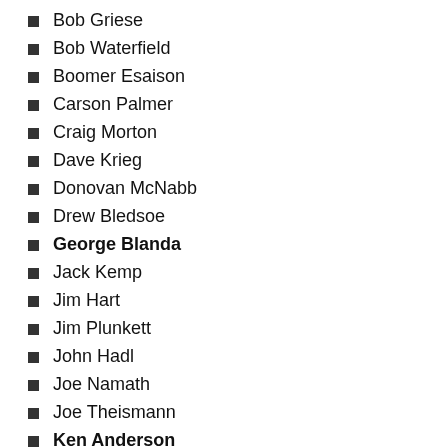Bob Griese
Bob Waterfield
Boomer Esaison
Carson Palmer
Craig Morton
Dave Krieg
Donovan McNabb
Drew Bledsoe
George Blanda
Jack Kemp
Jim Hart
Jim Plunkett
John Hadl
Joe Namath
Joe Theismann
Ken Anderson